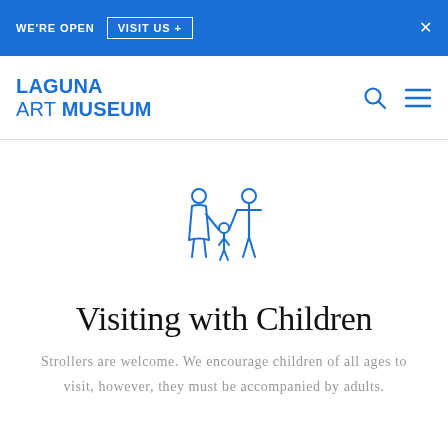WE'RE OPEN   VISIT US +   ×
[Figure (logo): Laguna Art Museum logo in blue bold text with search and menu icons]
[Figure (illustration): Blue line icon showing a family: adult woman, child, and adult man holding hands]
Visiting with Children
Strollers are welcome. We encourage children of all ages to visit, however, they must be accompanied by adults.